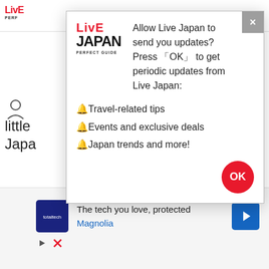LiveJapan PERFECT GUIDE
[Figure (screenshot): Browser notification permission dialog for Live Japan website with logo, notification options, and OK button]
little
Japa
Junk
stores, as well as sightseeing spots and transportation, not only in the area, but for the whole city of Tokyo. If you would like to meet Junko, go to the tourist information center right near the entrance of Tokyo Teleport Station Rinkai Line on the 3rd floor.
[Figure (screenshot): Advertisement banner: The tech you love, protected - Magnolia with navigation arrow icon]